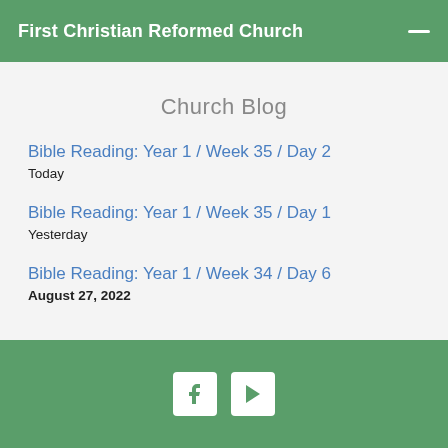First Christian Reformed Church
Church Blog
Bible Reading: Year 1 / Week 35 / Day 2
Today
Bible Reading: Year 1 / Week 35 / Day 1
Yesterday
Bible Reading: Year 1 / Week 34 / Day 6
August 27, 2022